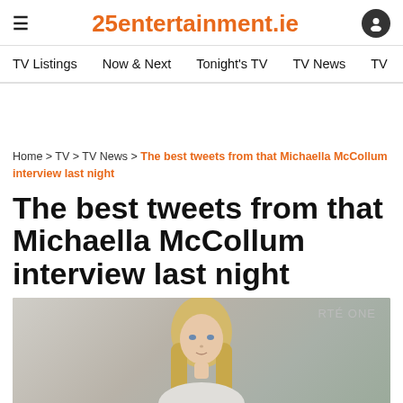25entertainment.ie
TV Listings   Now & Next   Tonight's TV   TV News   TV
Home > TV > TV News > The best tweets from that Michaella McCollum interview last night
The best tweets from that Michaella McCollum interview last night
[Figure (photo): A blonde woman photographed in a TV studio setting, with RTE ONE watermark visible in the top right of the image.]